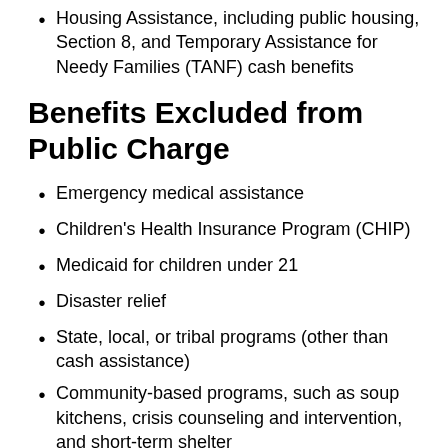Housing Assistance, including public housing, Section 8, and Temporary Assistance for Needy Families (TANF) cash benefits
Benefits Excluded from Public Charge
Emergency medical assistance
Children's Health Insurance Program (CHIP)
Medicaid for children under 21
Disaster relief
State, local, or tribal programs (other than cash assistance)
Community-based programs, such as soup kitchens, crisis counseling and intervention, and short-term shelter
Temporary Assistance for Needy Families (TANF) non-cash benefits